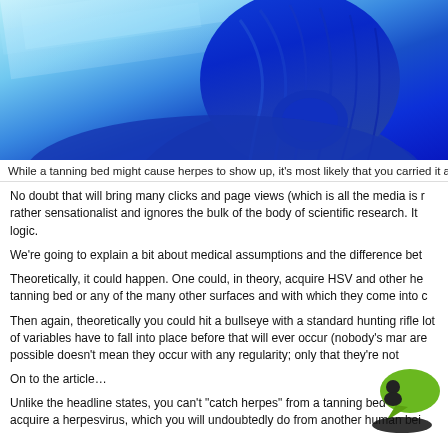[Figure (photo): Person with blue-tinted hair viewed from behind, lying in a tanning bed with blue UV light illuminating the scene]
While a tanning bed might cause herpes to show up, it's most likely that you carried it a
No doubt that will bring many clicks and page views (which is all the media is rather sensationalist and ignores the bulk of the body of scientific research.  It logic.
We're going to explain a bit about medical assumptions and the difference bet
Theoretically, it could happen. One could, in theory, acquire HSV and other he tanning bed or any of the many other surfaces and with which they come into c
Then again, theoretically you could hit a bullseye with a standard hunting rifle lot of variables have to fall into place before that will ever occur (nobody's mar are possible doesn't mean they occur with any regularity; only that they're not
On to the article…
[Figure (logo): Green speech bubble with person icon logo/watermark]
Unlike the headline states, you can't "catch herpes" from a tanning bed or any acquire a herpesvirus, which you will undoubtedly do from another human bei